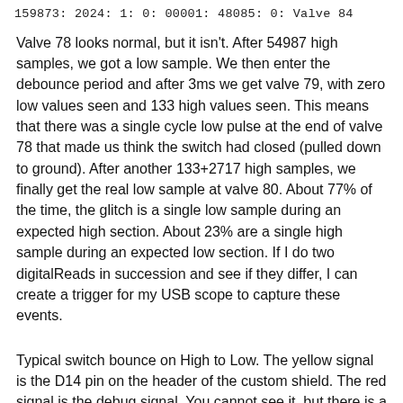159873: 2024: 1: 0: 00001: 48085: 0: Valve 84
Valve 78 looks normal, but it isn't. After 54987 high samples, we got a low sample. We then enter the debounce period and after 3ms we get valve 79, with zero low values seen and 133 high values seen. This means that there was a single cycle low pulse at the end of valve 78 that made us think the switch had closed (pulled down to ground). After another 133+2717 high samples, we finally get the real low sample at valve 80. About 77% of the time, the glitch is a single low sample during an expected high section. About 23% are a single high sample during an expected low section. If I do two digitalReads in succession and see if they differ, I can create a trigger for my USB scope to capture these events.
Typical switch bounce on High to Low. The yellow signal is the D14 pin on the header of the custom shield. The red signal is the debug signal. You cannot see it, but there is a very short spike on the red signal at the vertical dotted line marked “T”